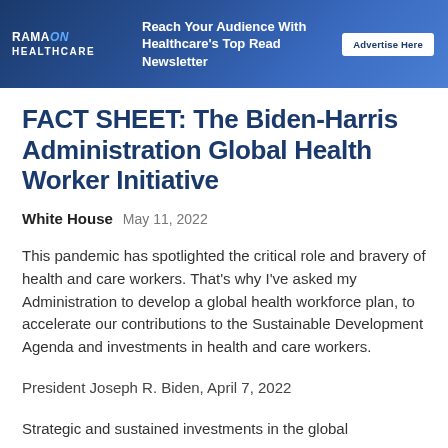[Figure (illustration): Rama on Healthcare banner advertisement with blue gradient background, logo on left, tagline 'Reach Your Audience With Healthcare's Top Read Newsletter' in center, and 'Advertise Here' button on right]
FACT SHEET: The Biden-Harris Administration Global Health Worker Initiative
White House  May 11, 2022
This pandemic has spotlighted the critical role and bravery of health and care workers. That's why I've asked my Administration to develop a global health workforce plan, to accelerate our contributions to the Sustainable Development Agenda and investments in health and care workers.
President Joseph R. Biden, April 7, 2022
Strategic and sustained investments in the global